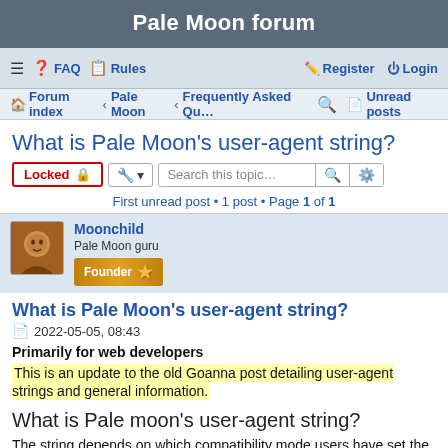Pale Moon forum
≡  FAQ  Rules   Register  Login
Forum index · Pale Moon · Frequently Asked Qu…   Unread posts
What is Pale Moon's user-agent string?
Locked  [Search this topic…]  First unread post • 1 post • Page 1 of 1
Moonchild
Pale Moon guru
Founder
What is Pale Moon's user-agent string?
2022-05-05, 08:43
Primarily for web developers
This is an update to the old Goanna post detailing user-agent strings and general information.
What is Pale moon's user-agent string?
The string depends on which compatibility mode users have set the